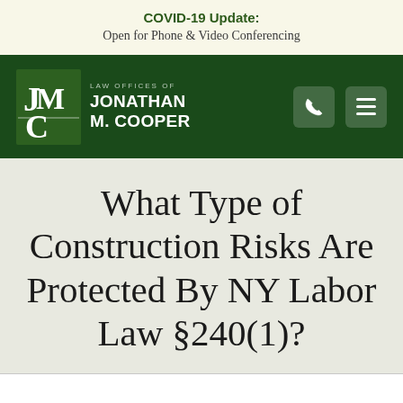COVID-19 Update: Open for Phone & Video Conferencing
[Figure (logo): Law Offices of Jonathan M. Cooper logo with JMC monogram in green square and firm name in white text on dark green navigation bar]
What Type of Construction Risks Are Protected By NY Labor Law §240(1)?